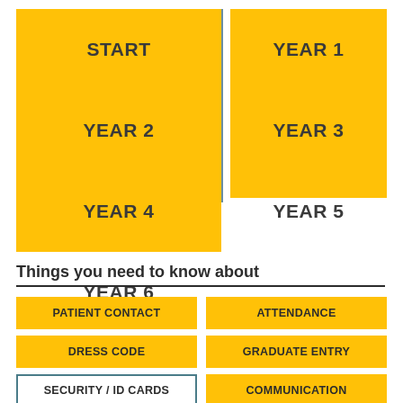[Figure (other): Yellow grid showing START, YEAR 1 through YEAR 6 in two columns. Left column: START, YEAR 2, YEAR 4, YEAR 6. Right column: YEAR 1, YEAR 3, YEAR 5. Right column is shorter (stops after YEAR 5).]
Things you need to know about
PATIENT CONTACT
ATTENDANCE
DRESS CODE
GRADUATE ENTRY
SECURITY / ID CARDS
COMMUNICATION
INDUCTIONS